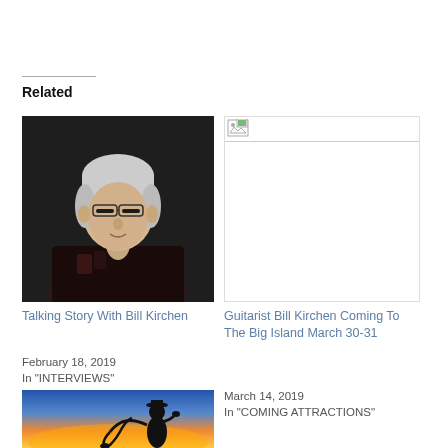Related
[Figure (photo): Black and white photo of Bill Kirchen, a man with white hair and glasses wearing a dark shirt, against a dark background]
Talking Story With Bill Kirchen
February 18, 2019
In "INTERVIEWS"
[Figure (photo): Broken/unloaded image placeholder for Guitarist Bill Kirchen Coming To The Big Island March 30-31]
Guitarist Bill Kirchen Coming To The Big Island March 30-31
March 14, 2019
In "COMING ATTRACTIONS"
[Figure (photo): Silhouette of a saxophone player against a colorful sunset sky]